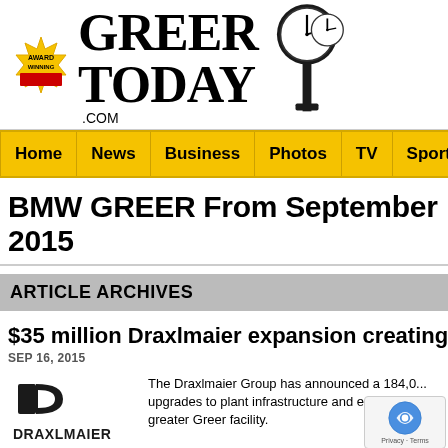[Figure (logo): Greer Today .com logo with award winning badge and clock tower illustration]
Home | News | Business | Photos | TV | Sports | Education | H...
BMW GREER From September 2015
ARTICLE ARCHIVES
$35 million Draxlmaier expansion creating 94...
SEP 16, 2015
[Figure (logo): Draxlmaier company logo — bold D icon above DRAXLMAIER wordmark]
The Draxlmaier Group has announced a 184,0... upgrades to plant infrastructure and equipmen... greater Greer facility.